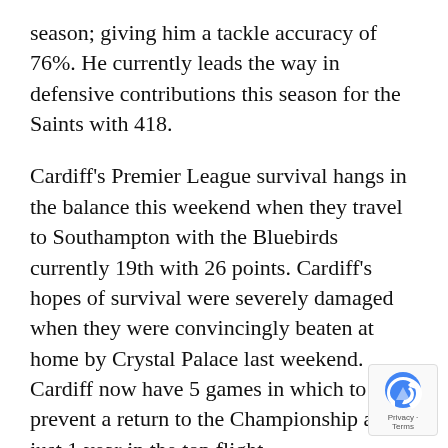season; giving him a tackle accuracy of 76%. He currently leads the way in defensive contributions this season for the Saints with 418.
Cardiff's Premier League survival hangs in the balance this weekend when they travel to Southampton with the Bluebirds currently 19th with 26 points. Cardiff's hopes of survival were severely damaged when they were convincingly beaten at home by Crystal Palace last weekend. Cardiff now have 5 games in which to prevent a return to the Championship after just 1 year in the top flight.
Jordon Mutch will hope he can give his side a much needed win whilst adding to his haul of 7 goals this season. The 22 year old is Cardiff's top scorer with 7 goals in 30 Premier League appearances. The EA SPORTS Player
[Figure (logo): reCAPTCHA logo badge with Privacy and Terms text]